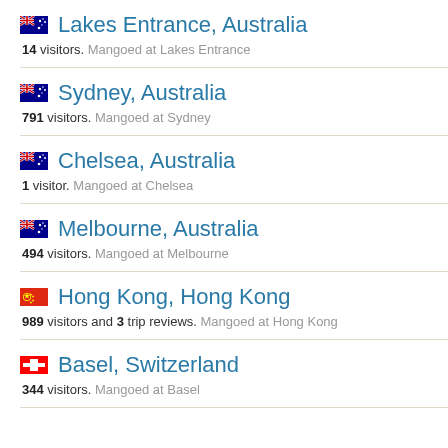Lakes Entrance, Australia — 14 visitors. Mangoed at Lakes Entrance
Sydney, Australia — 791 visitors. Mangoed at Sydney
Chelsea, Australia — 1 visitor. Mangoed at Chelsea
Melbourne, Australia — 494 visitors. Mangoed at Melbourne
Hong Kong, Hong Kong — 989 visitors and 3 trip reviews. Mangoed at Hong Kong
Basel, Switzerland — 344 visitors. Mangoed at Basel